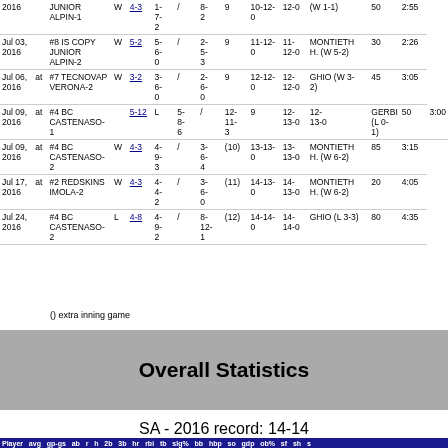| Date |  | Opponent | W/L | Score | Runs/Opp | Innings | Record | Pos | Pitcher | Att | Time |
| --- | --- | --- | --- | --- | --- | --- | --- | --- | --- | --- | --- |
| 2016 |  | JUNIOR ALPIN-1 | W | 4-3 | 1/6/2 / 8/2 | 9 | 10-12-0 | 12-0 | (W 1-1) | 50 | 2:55 |
| Jul 03, 2016 |  | #8 IS COPY JUNIOR ALPIN-2 | W | 5-2 | 5-6-0 / 2-5-3 | 9 | 11-12-0 | 11-12-0 | MONTIETH H. (W 5-2) | 30 | 2:26 |
| Jul 06, 2016 | at | #7 TECNOVAP VERONA-2 | W | 3-2 | 3-6-0 / 2-6-0 | 9 | 12-12-0 | 12-12-0 | GHIO (W 3-2) | 45 | 3:05 |
| Jul 09, 2016 | at | #4 BC CASTENASO-1 | L | 5-12 | 5-8-6 / 12-11-3 | 9 | 12-13-0 | 12-13-0 | GERBI (L 0-1) | 50 | 3:00 |
| Jul 09, 2016 | at | #4 BC CASTENASO-2 | W | 4-3 | 4-9-3 / 3-6-4 | (10) | 13-13-0 | 13-13-0 | MONTIETH H. (W 6-2) | 85 | 3:15 |
| Jul 17, 2016 | at | #2 REDSKINS IMOLA-2 | W | 4-3 | 4-4-2 / 3-6-0 | (11) | 14-13-0 | 14-13-0 | MONTIETH H. (W 6-2) | 20 | 4:05 |
| Jul 24, 2016 |  | #4 BC CASTENASO-2 | L | 4-8 | 4-9-2 / 8-12-1 | (12) | 14-14-0 | 14-14-0 | GHIO (L 3-3) | 80 | 4:35 |
() extra inning game
Overall Statistics
SA - 2016 record: 14-14
| Player | avg | gp-gs | ab | r | h | 2b | 3b | hr | rbi | tb | slg% | bb | hbp | so | gdp | ob% | sf | sh | s |
| --- | --- | --- | --- | --- | --- | --- | --- | --- | --- | --- | --- | --- | --- | --- | --- | --- | --- | --- | --- |